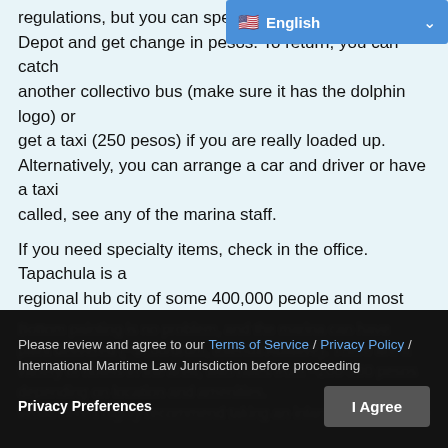regulations, but you can spend the Depot and get change in pesos. To return, you can catch another collectivo bus (make sure it has the dolphin logo) or get a taxi (250 pesos) if you are really loaded up. Alternatively, you can arrange a car and driver or have a taxi called, see any of the marina staff.
If you need specialty items, check in the office. Tapachula is a regional hub city of some 400,000 people and most things can be found here. There is no chandler in the area.
The dry yard is fine for doing work, but you may not live aboard when on the hard. Lifts are $10/foot. There are some resources available for boat work, but marine trades are limited. Mechanics, simple fibreglass work or welding/metal work can be arranged, but there is no rigger or sailmaker.
Bottom painting is no problem, and the marina can have paint delivered (~$200/drum, Interlux Ablative). There are a variety of hotels in the area, with rates from ~200-300 pesos depending on location and amenities.
While here I highly recommend taking an inland trip to see the
Please review and agree to our Terms of Service / Privacy Policy / International Maritime Law Jurisdiction before proceeding
Privacy Preferences | I Agree